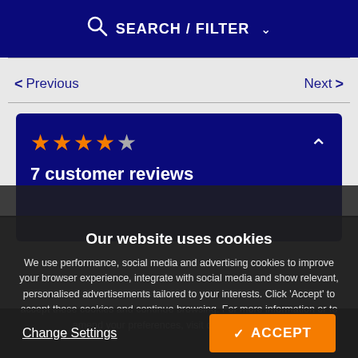SEARCH / FILTER
< Previous    Next >
[Figure (screenshot): Review card on dark navy background showing 4.5 star rating and '7 customer reviews' text with upward caret icon]
Our website uses cookies
We use performance, social media and advertising cookies to improve your browser experience, integrate with social media and show relevant, personalised advertisements tailored to your interests. Click 'Accept' to accept these cookies and continue browsing. For more information or to amend your preferences, visit our privacy policy.
Change Settings
✓ ACCEPT